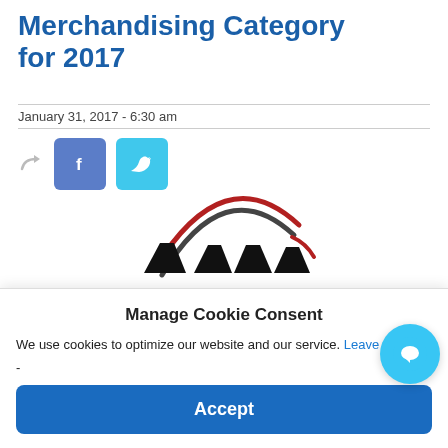Merchandising Category for 2017
January 31, 2017 - 6:30 am
[Figure (other): Share icons row: forward/share arrow, Facebook button (f), Twitter button (bird icon)]
[Figure (logo): AMMA logo — four black trapezoid/triangle shapes below a red and dark gray arc swoosh]
Manage Cookie Consent
We use cookies to optimize our website and our service. Leave th-
Accept